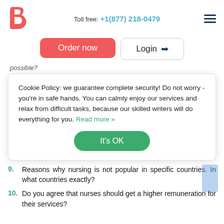Toll free: +1(877) 218-0479
[Figure (logo): Beta logo - stylized red/coral beta symbol]
Order now
Login
Cookie Policy: we guarantee complete security! Do not worry - you're in safe hands. You can calmly enjoy our services and relax from difficult tasks, because our skilled writers will do everything for you. Read more »
It's OK
9. Reasons why nursing is not popular in specific countries. In what countries exactly?
10. Do you agree that nurses should get a higher remuneration for their services?